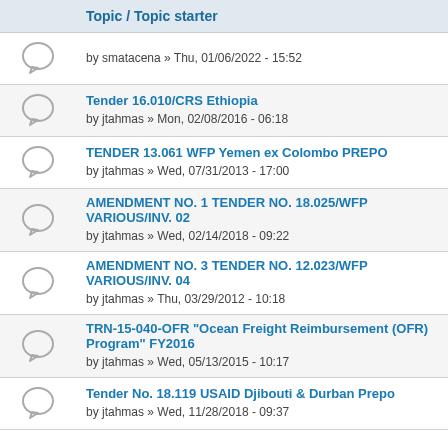| Topic / Topic starter |
| --- |
| by smatacena » Thu, 01/06/2022 - 15:52 |
| Tender 16.010/CRS Ethiopia
by jtahmas » Mon, 02/08/2016 - 06:18 |
| TENDER 13.061 WFP Yemen ex Colombo PREPO
by jtahmas » Wed, 07/31/2013 - 17:00 |
| AMENDMENT NO. 1 TENDER NO. 18.025/WFP VARIOUS/INV. 02
by jtahmas » Wed, 02/14/2018 - 09:22 |
| AMENDMENT NO. 3 TENDER NO. 12.023/WFP VARIOUS/INV. 04
by jtahmas » Thu, 03/29/2012 - 10:18 |
| TRN-15-040-OFR "Ocean Freight Reimbursement (OFR) Program" FY2016
by jtahmas » Wed, 05/13/2015 - 10:17 |
| Tender No. 18.119 USAID Djibouti & Durban Prepo
by jtahmas » Wed, 11/28/2018 - 09:37 |